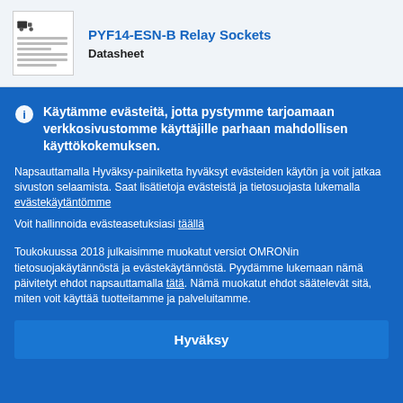PYF14-ESN-B Relay Sockets Datasheet
Käytämme evästeitä, jotta pystymme tarjoamaan verkkosivustomme käyttäjille parhaan mahdollisen käyttökokemuksen.
Napsauttamalla Hyväksy-painiketta hyväksyt evästeiden käytön ja voit jatkaa sivuston selaamista. Saat lisätietoja evästeistä ja tietosuojasta lukemalla evästekäytäntömme
Voit hallinnoida evästeasetuksiasi täällä
Toukokuussa 2018 julkaisimme muokatut versiot OMRONin tietosuojakäytännöstä ja evästekäytännöstä. Pyydämme lukemaan nämä päivitetyt ehdot napsauttamalla tätä. Nämä muokatut ehdot säätelevät sitä, miten voit käyttää tuotteitamme ja palveluitamme.
Hyväksy